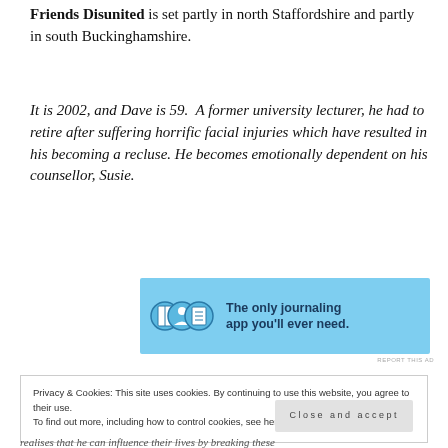Friends Disunited is set partly in north Staffordshire and partly in south Buckinghamshire.
It is 2002, and Dave is 59. A former university lecturer, he had to retire after suffering horrific facial injuries which have resulted in his becoming a recluse. He becomes emotionally dependent on his counsellor, Susie.
[Figure (other): Advertisement banner for a journaling app with blue background, icons of a book, a person, and a notepad, with text: 'The only journaling app you'll ever need.']
Privacy & Cookies: This site uses cookies. By continuing to use this website, you agree to their use.
To find out more, including how to control cookies, see here: Cookie Policy
Close and accept
realises that he can influence their lives by breaking these